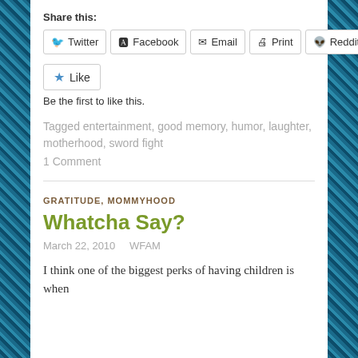Share this:
Twitter  Facebook  Email  Print  Reddit
Like  Be the first to like this.
Tagged entertainment, good memory, humor, laughter, motherhood, sword fight
1 Comment
GRATITUDE, MOMMYHOOD
Whatcha Say?
March 22, 2010  WFAM
I think one of the biggest perks of having children is when